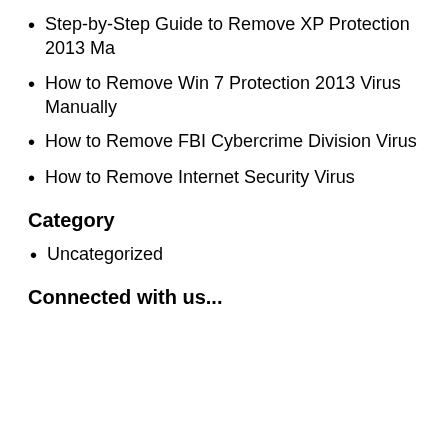Step-by-Step Guide to Remove XP Protection 2013 Ma…
How to Remove Win 7 Protection 2013 Virus Manually…
How to Remove FBI Cybercrime Division Virus
How to Remove Internet Security Virus
Category
Uncategorized
Connected with us...